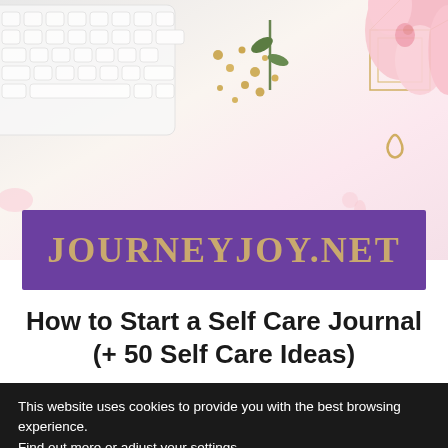[Figure (photo): Flat lay photo of a white keyboard (top-left), pink flowers (top-right), and scattered gold items/seeds on a white background]
JOURNEYJOY.NET
How to Start a Self Care Journal (+ 50 Self Care Ideas)
This website uses cookies to provide you with the best browsing experience.
Find out more or adjust your settings.
Accept